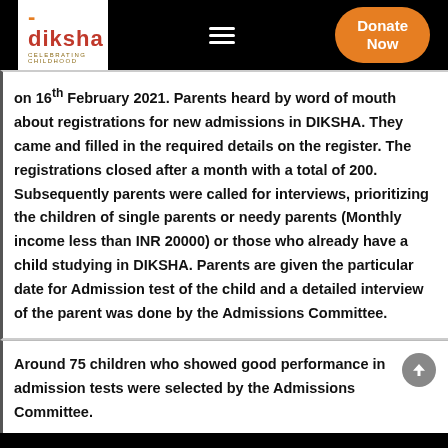diksha - Celebrating Childhood | Donate Now
on 16th February 2021. Parents heard by word of mouth about registrations for new admissions in DIKSHA. They came and filled in the required details on the register. The registrations closed after a month with a total of 200. Subsequently parents were called for interviews, prioritizing the children of single parents or needy parents (Monthly income less than INR 20000) or those who already have a child studying in DIKSHA. Parents are given the particular date for Admission test of the child and a detailed interview of the parent was done by the Admissions Committee.
Around 75 children who showed good performance in admission tests were selected by the Admissions Committee.